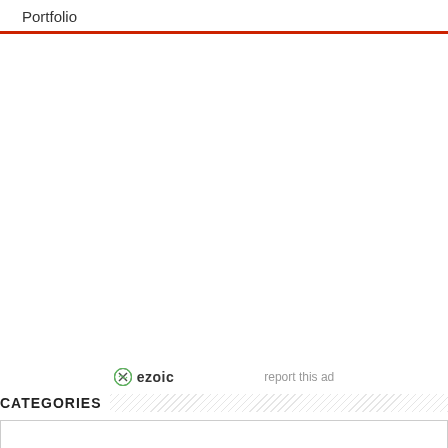Portfolio
ezoic   report this ad
CATEGORIES